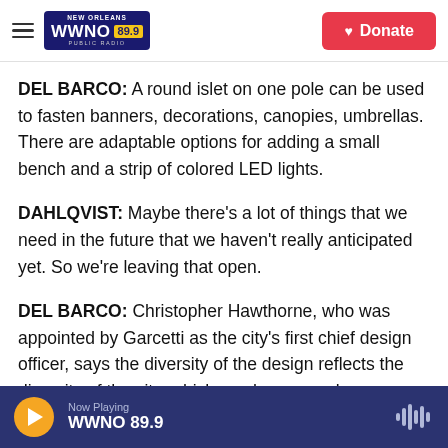WWNO 89.9 New Orleans Public Radio — Donate
DEL BARCO: A round islet on one pole can be used to fasten banners, decorations, canopies, umbrellas. There are adaptable options for adding a small bench and a strip of colored LED lights.
DAHLQVIST: Maybe there's a lot of things that we need in the future that we haven't really anticipated yet. So we're leaving that open.
DEL BARCO: Christopher Hawthorne, who was appointed by Garcetti as the city's first chief design officer, says the diversity of the design reflects the diversity of the city, which, each year, replaces one
Now Playing WWNO 89.9